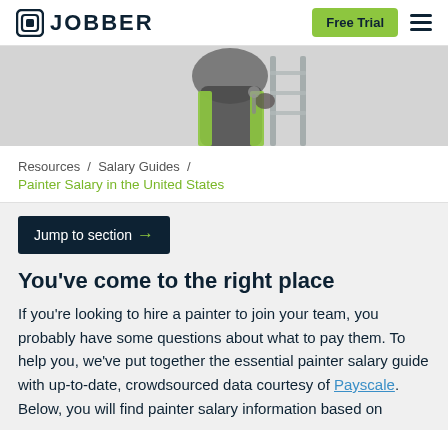JOBBER — Free Trial
[Figure (photo): Person in dark jacket and yellow safety vest carrying a ladder, partial upper body visible against a light background]
Resources / Salary Guides / Painter Salary in the United States
Jump to section →
You've come to the right place
If you're looking to hire a painter to join your team, you probably have some questions about what to pay them. To help you, we've put together the essential painter salary guide with up-to-date, crowdsourced data courtesy of Payscale. Below, you will find painter salary information based on